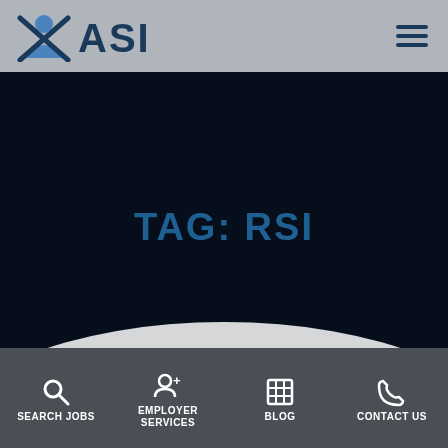ASI logo and navigation menu
TAG: RSI
SEARCH JOBS | EMPLOYER SERVICES | BLOG | CONTACT US